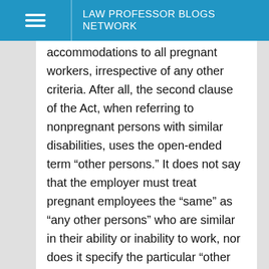LAW PROFESSOR BLOGS NETWORK
accommodations to all pregnant workers, irrespective of any other criteria. After all, the second clause of the Act, when referring to nonpregnant persons with similar disabilities, uses the open-ended term “other persons.” It does not say that the employer must treat pregnant employees the “same” as “any other persons” who are similar in their ability or inability to work, nor does it specify the particular “other persons” Congress had in mind as appropriate comparators for pregnant workers. Moreover, disparate treatment law normally allows an employer to implement policies that are not intended to harm members of a protected class, even if their implementation sometimes harms those members, as long as the employer has a